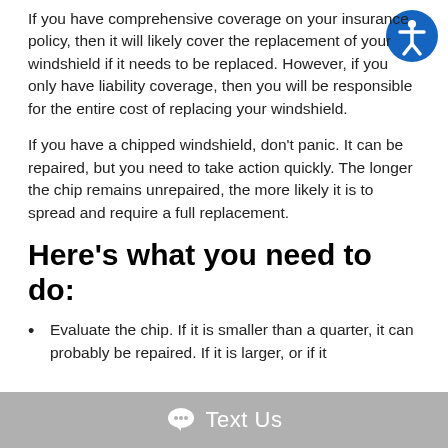If you have comprehensive coverage on your insurance policy, then it will likely cover the replacement of your windshield if it needs to be replaced. However, if you only have liability coverage, then you will be responsible for the entire cost of replacing your windshield.
If you have a chipped windshield, don't panic. It can be repaired, but you need to take action quickly. The longer the chip remains unrepaired, the more likely it is to spread and require a full replacement.
Here's what you need to do:
Evaluate the chip. If it is smaller than a quarter, it can probably be repaired. If it is larger, or if it